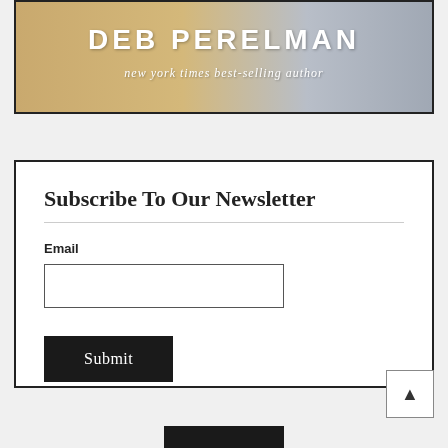[Figure (illustration): Book advertisement banner showing author name DEB PERELMAN in large bold white letters, with subtitle 'new york times best-selling author' in italic white text below, on a warm tan/wood background with a gray striped textile on the right side.]
Subscribe To Our Newsletter
Email
Submit